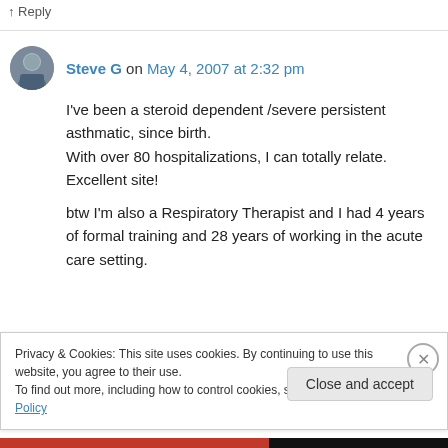↑ Reply
Steve G on May 4, 2007 at 2:32 pm
I've been a steroid dependent /severe persistent asthmatic, since birth.
With over 80 hospitalizations, I can totally relate. Excellent site!

btw I'm also a Respiratory Therapist and I had 4 years of formal training and 28 years of working in the acute care setting.
Privacy & Cookies: This site uses cookies. By continuing to use this website, you agree to their use.
To find out more, including how to control cookies, see here: Cookie Policy
Close and accept